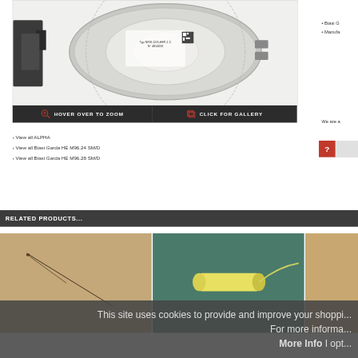[Figure (photo): Product photo of a flow meter or actuator device, circular metal component with label showing 'Typ NFSL12/6-HEP-1.C N° 4814026', mounted on a dark bracket]
HOVER OVER TO ZOOM
CLICK FOR GALLERY
View all ALPHA
View all Biasi Garda HE M96.24 SM/D
View all Biasi Garda HE M96.28 SM/D
Biasi G
Manufa
We are a
RELATED PRODUCTS...
[Figure (photo): Product photo: thin wire/electrode component on beige background]
[Figure (photo): Product photo: yellow cylindrical component with wire/tube on teal background]
[Figure (photo): Product photo: partially visible on right edge]
This site uses cookies to provide and improve your shopping experience. For more information please see our Cookie Policy. More Info I opt...